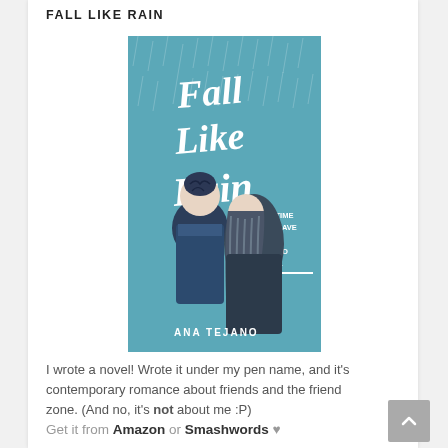FALL LIKE RAIN
[Figure (illustration): Book cover for 'Fall Like Rain' by Ana Tejano. Teal/blue background with rain lines. White script title text reading 'Fall Like Rain'. Two figures seen from behind – a boy with dark hair bun in blue jacket on left, a girl with long striped hair in dark jacket on right. Tagline reads: IT'S TIME TO LEAVE THE FRIEND ZONE. Author name ANA TEJANO at bottom.]
I wrote a novel! Wrote it under my pen name, and it's contemporary romance about friends and the friend zone. (And no, it's not about me :P)
Get it from Amazon or Smashwords ♥